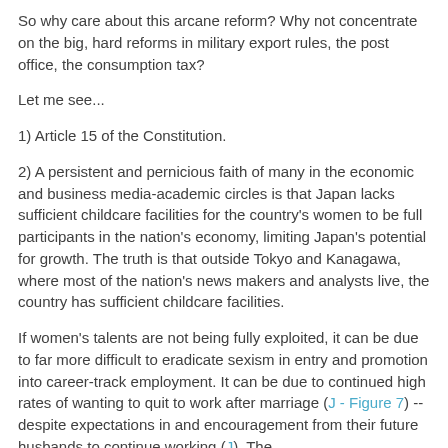So why care about this arcane reform? Why not concentrate on the big, hard reforms in military export rules, the post office, the consumption tax?
Let me see...
1) Article 15 of the Constitution.
2) A persistent and pernicious faith of many in the economic and business media-academic circles is that Japan lacks sufficient childcare facilities for the country's women to be full participants in the nation's economy, limiting Japan's potential for growth. The truth is that outside Tokyo and Kanagawa, where most of the nation's news makers and analysts live, the country has sufficient childcare facilities.
If women's talents are not being fully exploited, it can be due to far more difficult to eradicate sexism in entry and promotion into career-track employment. It can be due to continued high rates of wanting to quit to work after marriage (J - Figure 7) -- despite expectations in and encouragement from their future husbands to continue working (J). The